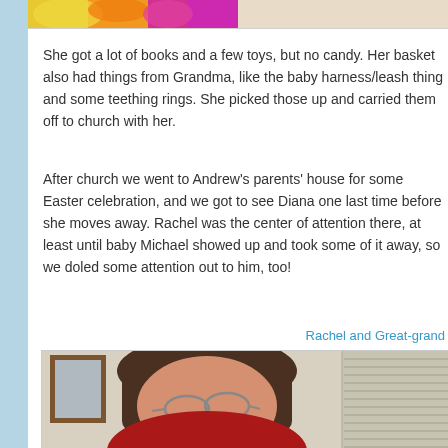[Figure (photo): Top strip showing colorful Easter basket items, partially visible at top of page]
She got a lot of books and a few toys, but no candy. Her basket also had things from Grandma, like the baby harness/leash thing and some teething rings. She picked those up and carried them off to church with her.
After church we went to Andrew's parents' house for some Easter celebration, and we got to see Diana one last time before she moves away. Rachel was the center of attention there, at least until baby Michael showed up and took some of it away, so we doled some attention out to him, too!
Rachel and Great-grand
[Figure (photo): Photo of a woman with dark hair and glasses wearing a red top, seated indoors with a framed picture on wall and louvered doors visible in background]